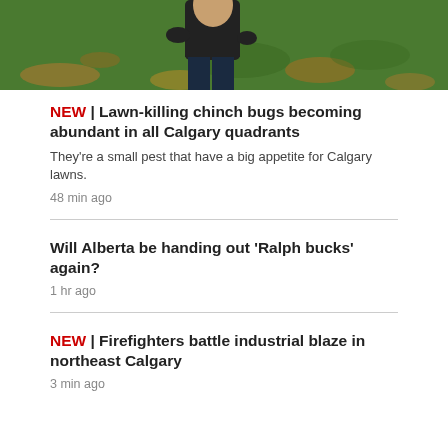[Figure (photo): Person standing on grass lawn, viewed from behind/side, wearing black shirt and dark jeans. The lawn has patches of brown dead grass and green areas.]
NEW | Lawn-killing chinch bugs becoming abundant in all Calgary quadrants
They're a small pest that have a big appetite for Calgary lawns.
48 min ago
Will Alberta be handing out 'Ralph bucks' again?
1 hr ago
NEW | Firefighters battle industrial blaze in northeast Calgary
3 min ago